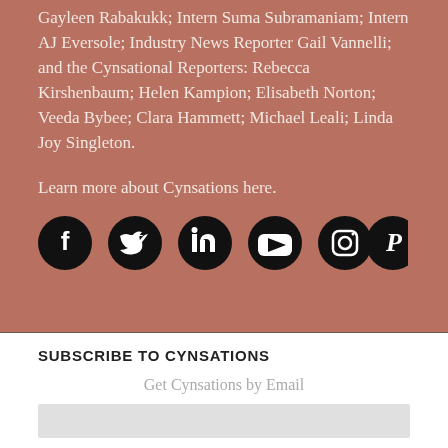Gayleen Rabakukk; Intern Suma Subramaniam; Intern AJ Eversole; Industry News Reporter Gail Vannelli; and the Cynsational Reporters: Rebecca Kirshenbaum; Helen Kampion; Elisabeth Norton; Veeda Bybee; Clara Hammett; Michael Leali; Linda Joy Singleton.
Learn more about Cynsations here.
[Figure (infographic): Six social media icons in black circles: Facebook, Twitter, LinkedIn, YouTube, Instagram, Pinterest]
SUBSCRIBE TO CYNSATIONS
Get Cynsations by Email